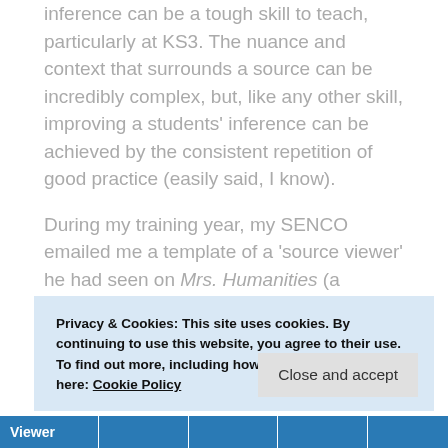inference can be a tough skill to teach, particularly at KS3. The nuance and context that surrounds a source can be incredibly complex, but, like any other skill, improving a students' inference can be achieved by the consistent repetition of good practice (easily said, I know).
During my training year, my SENCO emailed me a template of a 'source viewer' he had seen on Mrs. Humanities (a website which then became my professional life-raft). I decided to adapt the source viewer to make it suitable for my lower attainers (Figure 1).
Privacy & Cookies: This site uses cookies. By continuing to use this website, you agree to their use.
To find out more, including how to control cookies, see here: Cookie Policy
| Viewer |  |  |  |  |
| --- | --- | --- | --- | --- |